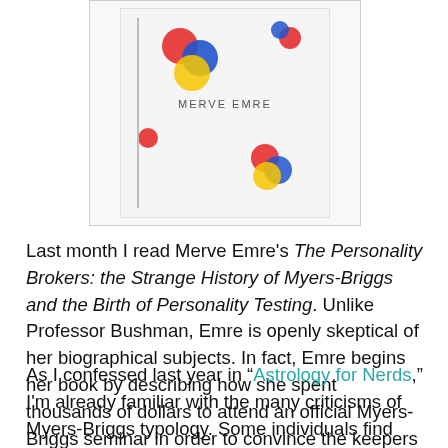[Figure (photo): Book cover of 'The Personality Brokers' by Merve Emre — white cover with colorful circles and the author name 'MERVE EMRE' printed on it]
Last month I read Merve Emre’s The Personality Brokers: the Strange History of Myers-Briggs and the Birth of Personality Testing. Unlike Professor Bushman, Emre is openly skeptical of her biographical subjects. In fact, Emre begins her book by describing how she spent thousands of dollars to attend an official Myers-Briggs seminar in order to convince the keepers of Katherine and Isabel’s legacy that Emre could be trusted to see their private papers. It didn’t work.
As I confessed last year in “Astrology for Nerds,” I’m already familiar with the many criticisms of Myers-Briggs typology. Some individuals find they’re assigned to wildly different personality types each time they take the test, which undercuts Myers-Briggs’ claim to reveal permanent characteristics. The test also tends to amplify minor